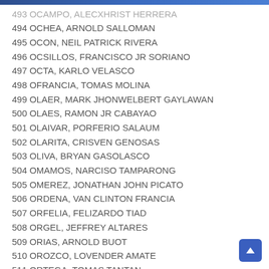493 OCAMPO, ALECXHRIST HERRERA
494 OCHEA, ARNOLD SALLOMAN
495 OCON, NEIL PATRICK RIVERA
496 OCSILLOS, FRANCISCO JR SORIANO
497 OCTA, KARLO VELASCO
498 OFRANCIA, TOMAS MOLINA
499 OLAER, MARK JHONWELBERT GAYLAWAN
500 OLAES, RAMON JR CABAYAO
501 OLAIVAR, PORFERIO SALAUM
502 OLARITA, CRISVEN GENOSAS
503 OLIVA, BRYAN GASOLASCO
504 OMAMOS, NARCISO TAMPARONG
505 OMEREZ, JONATHAN JOHN PICATO
506 ORDENA, VAN CLINTON FRANCIA
507 ORFELIA, FELIZARDO TIAD
508 ORGEL, JEFFREY ALTARES
509 ORIAS, ARNOLD BUOT
510 OROZCO, LOVENDER AMATE
511 ORTEGA, TOMAS TANTAN